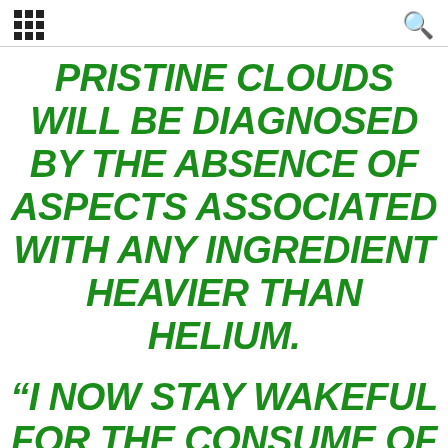[grid icon] [search icon]
PRISTINE CLOUDS WILL BE DIAGNOSED BY THE ABSENCE OF ASPECTS ASSOCIATED WITH ANY INGREDIENT HEAVIER THAN HELIUM.
“I NOW STAY WAKEFUL FOR THE CONSUME OF WEBB’S UNHEARD OF CAPABILITIES TO SEE FOR THESE BLACK